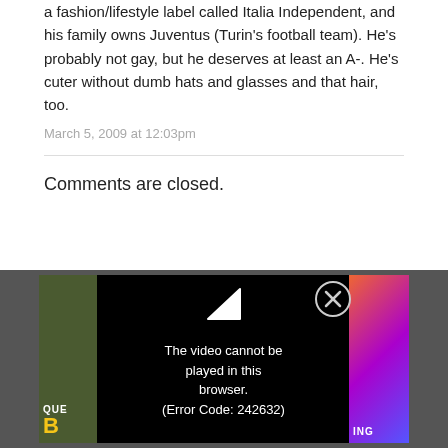a fashion/lifestyle label called Italia Independent, and his family owns Juventus (Turin's football team). He's probably not gay, but he deserves at least an A-. He's cuter without dumb hats and glasses and that hair, too.
March 5, 2009 at 12:03pm
Comments are closed.
[Figure (screenshot): Video player error overlay on dark gray background showing 'The video cannot be played in this browser. (Error Code: 242632)' with a close button (X), play icon, and partial video thumbnails on left and right sides.]